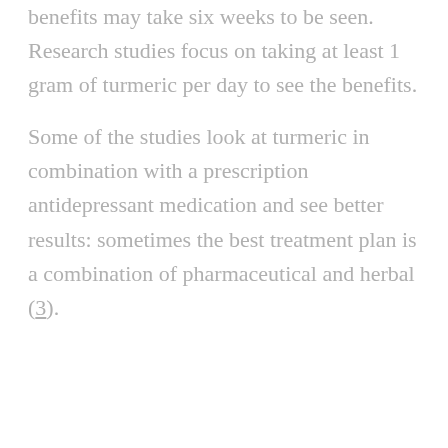benefits may take six weeks to be seen. Research studies focus on taking at least 1 gram of turmeric per day to see the benefits.
Some of the studies look at turmeric in combination with a prescription antidepressant medication and see better results: sometimes the best treatment plan is a combination of pharmaceutical and herbal (3).